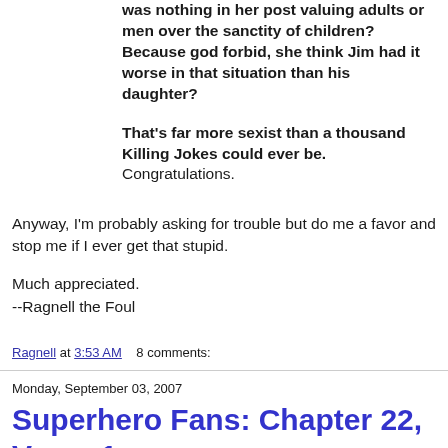was nothing in her post valuing adults or men over the sanctity of children? Because god forbid, she think Jim had it worse in that situation than his daughter?
That's far more sexist than a thousand Killing Jokes could ever be. Congratulations.
Anyway, I'm probably asking for trouble but do me a favor and stop me if I ever get that stupid.
Much appreciated.
--Ragnell the Foul
Ragnell at 3:53 AM    8 comments:
Monday, September 03, 2007
Superhero Fans: Chapter 22, Verse 1